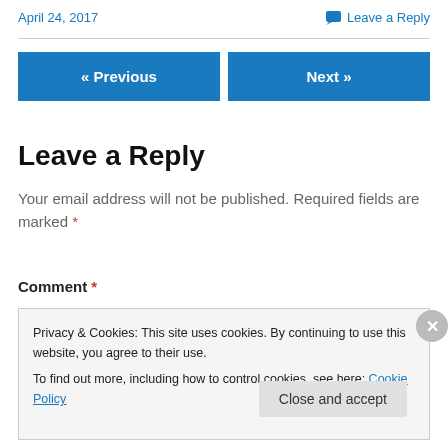April 24, 2017    Leave a Reply
« Previous    Next »
Leave a Reply
Your email address will not be published. Required fields are marked *
Comment *
Privacy & Cookies: This site uses cookies. By continuing to use this website, you agree to their use.
To find out more, including how to control cookies, see here: Cookie Policy
Close and accept